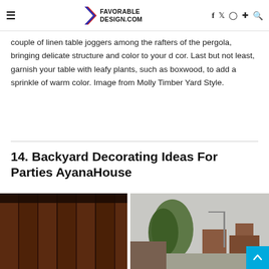≡  FAVORABLE DESIGN.COM   f  ✦  ○  ⊕  ⌕
couple of linen table joggers among the rafters of the pergola, bringing delicate structure and color to your d cor. Last but not least, garnish your table with leafy plants, such as boxwood, to add a sprinkle of warm color. Image from Molly Timber Yard Style.
14. Backyard Decorating Ideas For Parties AyanaHouse
[Figure (photo): Two photos side by side: left photo shows a brown wooden wall/barn structure in dark reddish-brown tones; right photo shows an outdoor scene with a tree and buildings with a back-to-top button in the bottom right corner.]